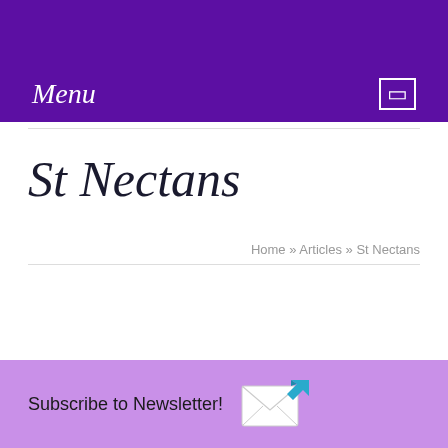Menu
St Nectans
Home » Articles » St Nectans
Subscribe to Newsletter!